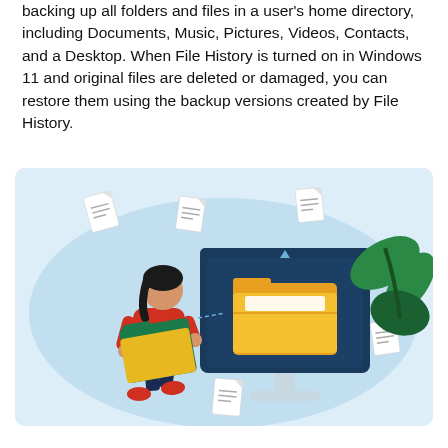backing up all folders and files in a user's home directory, including Documents, Music, Pictures, Videos, Contacts, and a Desktop. When File History is turned on in Windows 11 and original files are deleted or damaged, you can restore them using the backup versions created by File History.
[Figure (illustration): A flat vector illustration showing a woman in a red top carrying a large green and yellow folder toward a desktop computer monitor. The monitor displays a large open yellow folder on a dark blue screen. Multiple white document pages are floating around the scene. Green tropical leaves are in the background on the right. The background is a light blue oval shape.]